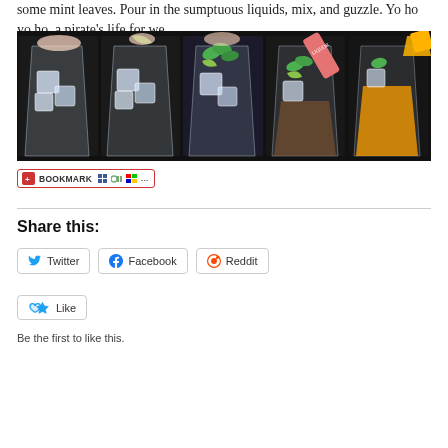some mint leaves. Pour in the sumptuous liquids, mix, and guzzle. Yo ho yo ho, a pirate's life for we.
[Figure (photo): Five sequential steps showing preparation of a cocktail drink in glass tumblers: adding ice, adding lime, adding mint leaves, pouring liquid from a bottle, and final drink with orange juice poured in.]
[Figure (other): Bookmark button widget with social sharing icons]
Share this:
Twitter  Facebook  Reddit
Like
Be the first to like this.